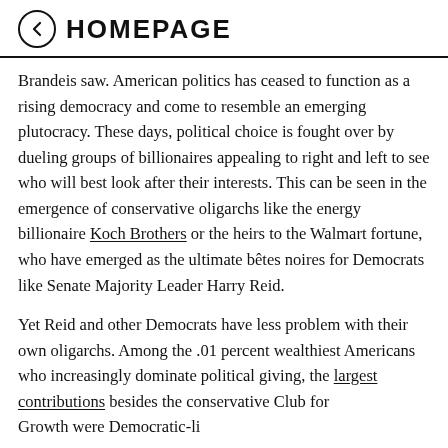HOMEPAGE
Brandeis saw. American politics has ceased to function as a rising democracy and come to resemble an emerging plutocracy. These days, political choice is fought over by dueling groups of billionaires appealing to right and left to see who will best look after their interests. This can be seen in the emergence of conservative oligarchs like the energy billionaire Koch Brothers or the heirs to the Walmart fortune, who have emerged as the ultimate bêtes noires for Democrats like Senate Majority Leader Harry Reid.
Yet Reid and other Democrats have less problem with their own oligarchs. Among the .01 percent wealthiest Americans who increasingly dominate political giving, the largest contributions besides the conservative Club for Growth were Democratic-leaning donors. Emily...